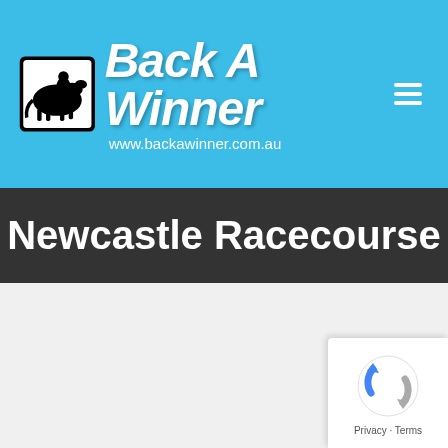[Figure (logo): Back A Winner logo with horse racing icon and website URL www.backawinner.com.au on blue background with hamburger menu icon]
Newcastle Racecourse
[Figure (logo): reCAPTCHA badge with rotating arrows icon and Privacy - Terms text]